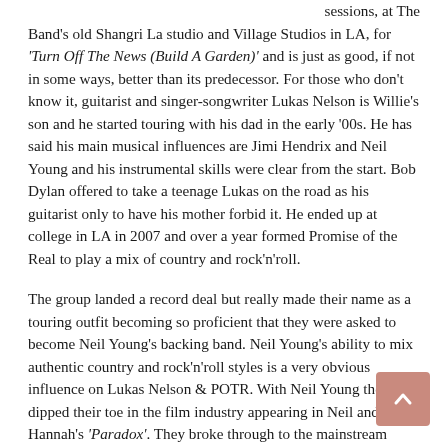sessions, at The Band's old Shangri La studio and Village Studios in LA, for 'Turn Off The News (Build A Garden)' and is just as good, if not in some ways, better than its predecessor. For those who don't know it, guitarist and singer-songwriter Lukas Nelson is Willie's son and he started touring with his dad in the early '00s. He has said his main musical influences are Jimi Hendrix and Neil Young and his instrumental skills were clear from the start. Bob Dylan offered to take a teenage Lukas on the road as his guitarist only to have his mother forbid it. He ended up at college in LA in 2007 and over a year formed Promise of the Real to play a mix of country and rock'n'roll.
The group landed a record deal but really made their name as a touring outfit becoming so proficient that they were asked to become Neil Young's backing band. Neil Young's ability to mix authentic country and rock'n'roll styles is a very obvious influence on Lukas Nelson & POTR. With Neil Young they dipped their toe in the film industry appearing in Neil and Daryl Hannah's 'Paradox'. They broke through to the mainstream